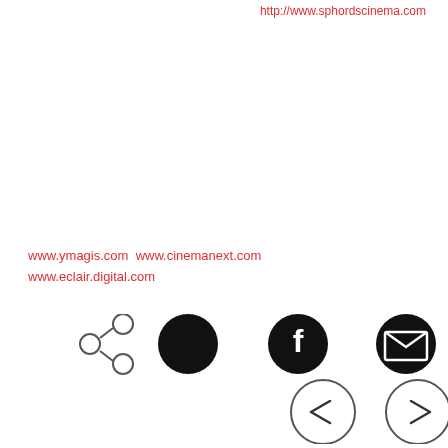http://www.sphordscinema.com
www.ymagis.com  www.cinemanext.com  www.eclair.digital.com
[Figure (infographic): Social share icon (circles with nodes), Twitter icon (black circle with bird), Facebook icon (black circle with f), Email icon (black circle with envelope), left arrow circle button, right arrow circle button]